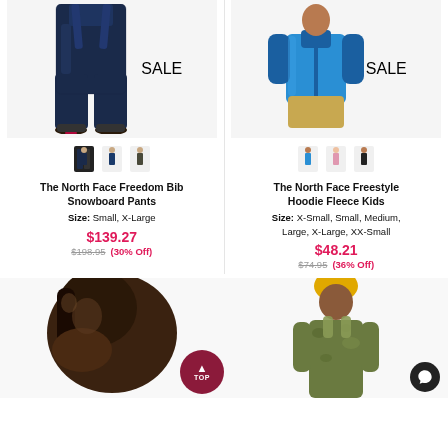[Figure (photo): The North Face Freedom Bib Snowboard Pants product photo with SALE badge]
[Figure (photo): The North Face Freestyle Hoodie Fleece Kids product photo with SALE badge]
The North Face Freedom Bib Snowboard Pants
Size: Small, X-Large
$139.27
$198.95 (30% Off)
The North Face Freestyle Hoodie Fleece Kids
Size: X-Small, Small, Medium, Large, X-Large, XX-Small
$48.21
$74.95 (36% Off)
[Figure (photo): Boot/shoe product photo (partially visible)]
[Figure (photo): Person wearing outdoor gear (partially visible)]